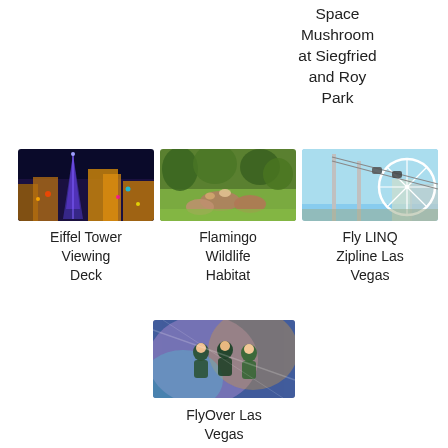Space Mushroom at Siegfried and Roy Park
[Figure (photo): Eiffel Tower Las Vegas at night with colorful lights]
Eiffel Tower Viewing Deck
[Figure (photo): Flamingo Wildlife Habitat with animals and greenery]
Flamingo Wildlife Habitat
[Figure (photo): Fly LINQ Zipline Las Vegas with gondolas and Ferris wheel]
Fly LINQ Zipline Las Vegas
[Figure (photo): FlyOver Las Vegas ride experience with riders]
FlyOver Las Vegas